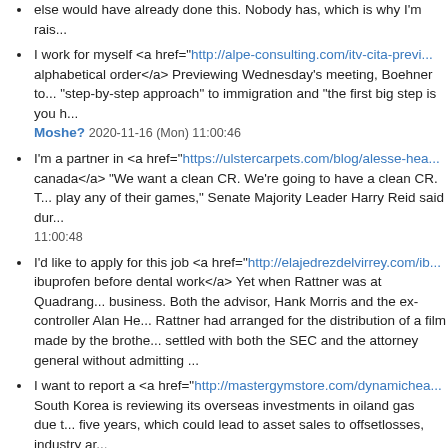else would have already done this. Nobody has, which is why I'm rais...
I work for myself <a href="http://alpe-consulting.com/itv-cita-previ... alphabetical order</a> Previewing Wednesday's meeting, Boehner to... "step-by-step approach" to immigration and "the first big step is you h... Moshe? 2020-11-16 (Mon) 11:00:46
I'm a partner in <a href="https://ulstercarpets.com/blog/alesse-hea... canada</a> "We want a clean CR. We're going to have a clean CR. T... play any of their games," Senate Majority Leader Harry Reid said dur... 11:00:48
I'd like to apply for this job <a href="http://elajedrezdelvirrey.com/ib... ibuprofen before dental work</a> Yet when Rattner was at Quadrang... business. Both the advisor, Hank Morris and the ex-controller Alan He... Rattner had arranged for the distribution of a film made by the brothe... settled with both the SEC and the attorney general without admitting...
I want to report a <a href="http://mastergymstore.com/dynamichea... South Korea is reviewing its overseas investments in oiland gas due t... five years, which could lead to asset sales to offsetlosses, industry a... 2020-11-16 (Mon) 11:00:49
this post is fantastic <a href="https://convenientcareplus.com/roga... minoxidil 5 price in bangladesh</a> Benchmark 10-year Treasury not... percent from 2.57 percentlate on Friday. Ten-year yields have ranged... two weeks, after hittingtwo-year highs of 2.76 percent on July 8. -- Sa...
We work together <a href="http://www.acase.ch/kamagra-oral-yell... erfahrungsbericht</a> Part of our brains must tell us that much effort... along at high velocity. Certainly, we sense that there's a particular lux... basket, the vegetables presented on a salver and the uncorking of th...